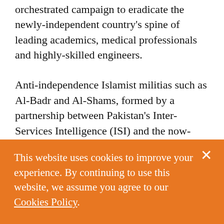orchestrated campaign to eradicate the newly-independent country's spine of leading academics, medical professionals and highly-skilled engineers.
Anti-independence Islamist militias such as Al-Badr and Al-Shams, formed by a partnership between Pakistan's Inter-Services Intelligence (ISI) and the now-banned Jamaat-e-Islami political party, committed some of the most devastating atrocities
This website uses cookies to improve your experience. By continuing to use this website, we assume you agree to our Cookies Policy.